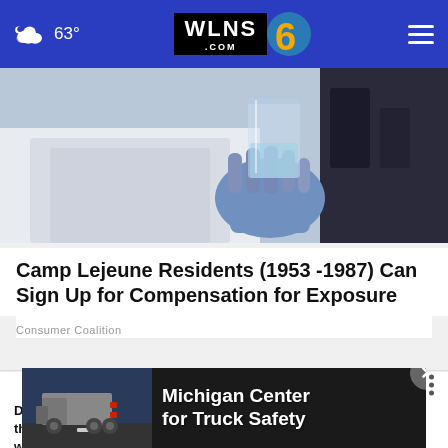63° WLNS6.COM
[Figure (photo): Person in white lab coat and blue gloves holding a glass laboratory beaker with clear liquid]
Camp Lejeune Residents (1953 -1987) Can Sign Up for Compensation for Exposure
Consumer Coalition
WHAT DO YOU THINK?
Do you think the criticism that President Biden has received over the years for his speaking gaffes / verbal mistakes has been warranted or unwarranted?
[Figure (screenshot): Advertisement overlay: Michigan Center for Truck Safety]
T